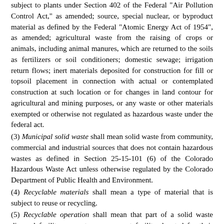subject to plants under Section 402 of the Federal "Air Pollution Control Act," as amended; source, special nuclear, or byproduct material as defined by the Federal "Atomic Energy Act of 1954", as amended; agricultural waste from the raising of crops or animals, including animal manures, which are returned to the soils as fertilizers or soil conditioners; domestic sewage; irrigation return flows; inert materials deposited for construction for fill or topsoil placement in connection with actual or contemplated construction at such location or for changes in land contour for agricultural and mining purposes, or any waste or other materials exempted or otherwise not regulated as hazardous waste under the federal act.
(3) Municipal solid waste shall mean solid waste from community, commercial and industrial sources that does not contain hazardous wastes as defined in Section 25-15-101 (6) of the Colorado Hazardous Waste Act unless otherwise regulated by the Colorado Department of Public Health and Environment.
(4) Recyclable materials shall mean a type of material that is subject to reuse or recycling.
(5) Recyclable operation shall mean that part of a solid waste disposal facility or waste management facility devoted for their recycling which